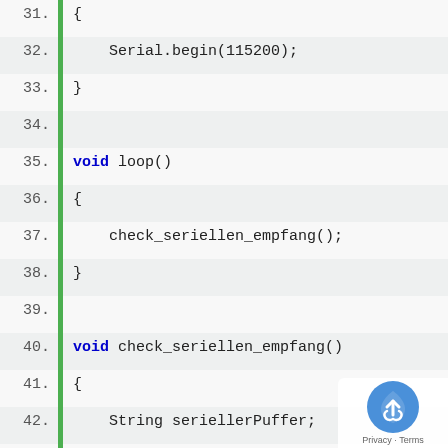[Figure (screenshot): Code editor screenshot showing Arduino/C++ code lines 31-51 with line numbers, a green vertical bar on the left, alternating row shading, and syntax highlighting. Keywords 'void', 'while', 'char', 'if', 'else' in bold blue. A reCAPTCHA badge overlaps the bottom-right corner.]